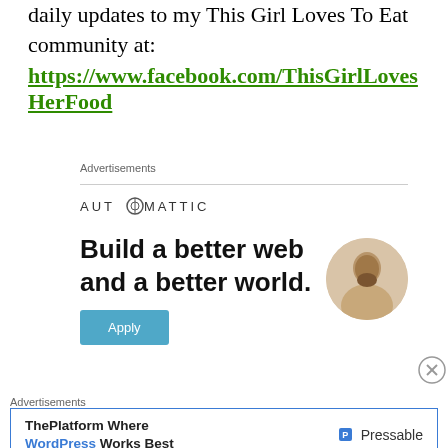daily updates to my This Girl Loves To Eat community at: https://www.facebook.com/ThisGirlLovesHerFood
Advertisements
[Figure (infographic): Automattic advertisement banner: logo with circular O icon, text 'Build a better web and a better world.' with an Apply button and a circular photo of a person]
Advertisements
[Figure (infographic): Pressable ad banner: 'ThePlatform Where WordPress Works Best' with Pressable logo on the right]